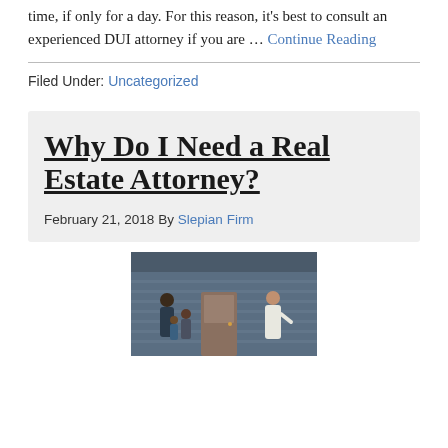time, if only for a day. For this reason, it's best to consult an experienced DUI attorney if you are … Continue Reading
Filed Under: Uncategorized
Why Do I Need a Real Estate Attorney?
February 21, 2018 By Slepian Firm
[Figure (photo): A family with children standing at the front door of a house, speaking with a woman in white, presumably a real estate agent.]